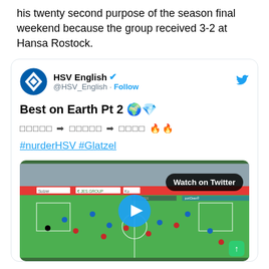his twenty second purpose of the season final weekend because the group received 3-2 at Hansa Rostock.
[Figure (screenshot): Embedded tweet from HSV English (@HSV_English) with text 'Best on Earth Pt 2 🌍💎' followed by box symbols and arrow emojis and fire emojis, hashtags #nurderHSV #Glatzel, and a soccer match video thumbnail with a 'Watch on Twitter' badge and play button.]